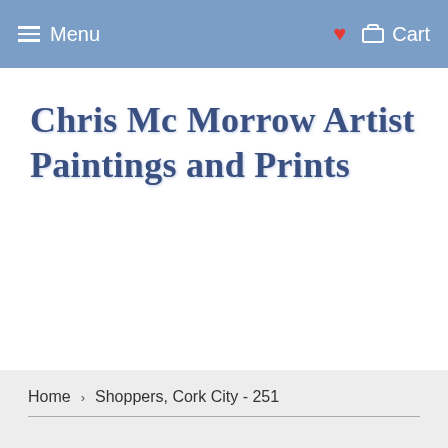Menu   ♥   Cart
Chris Mc Morrow Artist Paintings and Prints
Home › Shoppers, Cork City - 251